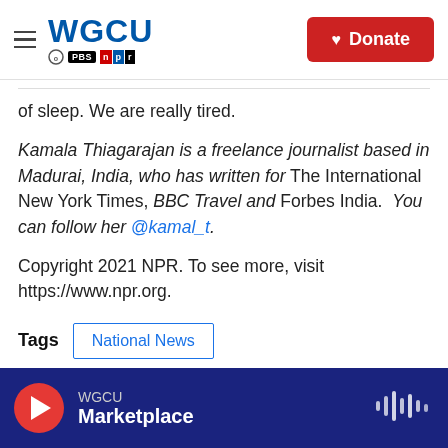WGCU PBS NPR | Donate
of sleep. We are really tired.
Kamala Thiagarajan is a freelance journalist based in Madurai, India, who has written for The International New York Times, BBC Travel and Forbes India. You can follow her @kamal_t.
Copyright 2021 NPR. To see more, visit https://www.npr.org.
Tags  National News
WGCU Marketplace